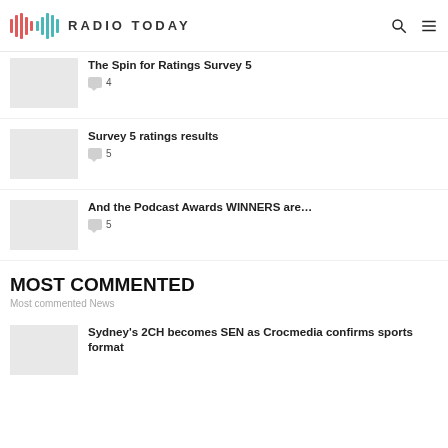RADIO TODAY
The Spin for Ratings Survey 5 — 4 comments
Survey 5 ratings results — 5 comments
And the Podcast Awards WINNERS are… — 5 comments
MOST COMMENTED
Most commented News
Sydney's 2CH becomes SEN as Crocmedia confirms sports format